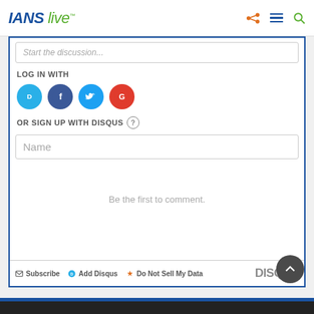IANS live
Start the discussion...
LOG IN WITH
[Figure (illustration): Social login icons: Disqus (blue), Facebook (dark blue), Twitter (light blue), Google (red)]
OR SIGN UP WITH DISQUS ?
Name
Be the first to comment.
Subscribe  Add Disqus  Do Not Sell My Data  DISQUS